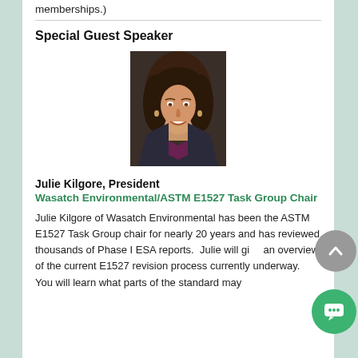memberships.)
Special Guest Speaker
[Figure (photo): Portrait photo of Julie Kilgore, a woman with long dark wavy hair, smiling, wearing a dark jacket over a purple top]
Julie Kilgore, President
Wasatch Environmental/ASTM E1527 Task Group Chair
Julie Kilgore of Wasatch Environmental has been the ASTM E1527 Task Group chair for nearly 20 years and has reviewed thousands of Phase I ESA reports.  Julie will give an overview of the current E1527 revision process currently underway.  You will learn what parts of the standard may